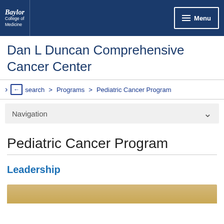Baylor College of Medicine | Menu
Dan L Duncan Comprehensive Cancer Center
search > Programs > Pediatric Cancer Program
Navigation
Pediatric Cancer Program
Leadership
[Figure (photo): Partial photo strip at bottom of page, gold/tan color]